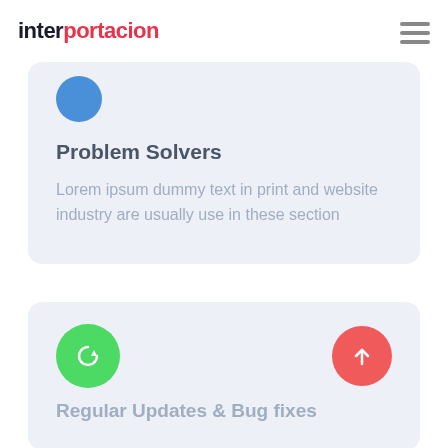interportacion
Problem Solvers
Lorem ipsum dummy text in print and website industry are usually use in these section
Regular Updates & Bug fixes